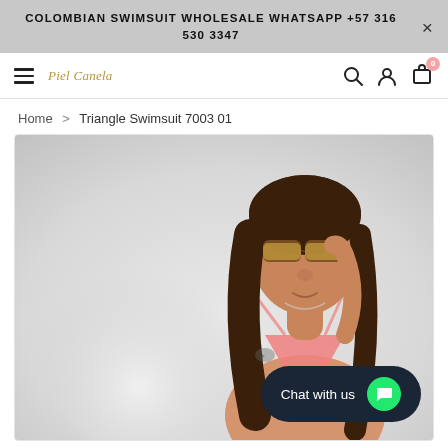COLOMBIAN SWIMSUIT WHOLESALE WHATSAPP +57 316 530 3347
[Figure (screenshot): Website navigation bar with hamburger menu, Piel Canela brand logo, search icon, user icon, and cart icon with badge showing 0]
Home > Triangle Swimsuit 7003 01
[Figure (photo): Woman wearing a pink triangle swimsuit top and sunglasses, with long dark hair, holding her glasses, shown from chest up against a light grey background]
Chat with us